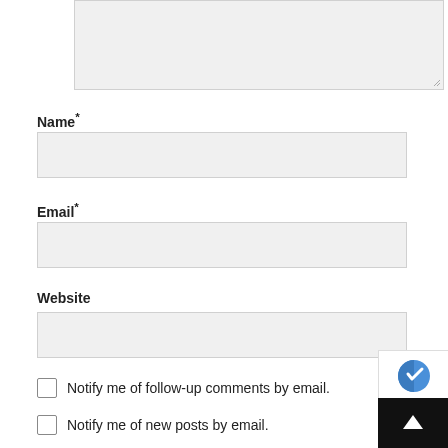[Figure (screenshot): Textarea input field (partially visible, top of page), light gray background with resize handle at bottom-right corner]
Name*
[Figure (screenshot): Text input field for Name, light gray background, empty]
Email*
[Figure (screenshot): Text input field for Email, light gray background, empty]
Website
[Figure (screenshot): Text input field for Website, light gray background, empty]
Notify me of follow-up comments by email.
Notify me of new posts by email.